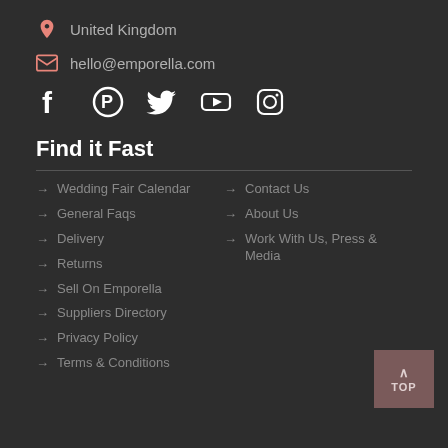United Kingdom
hello@emporella.com
[Figure (other): Social media icons: Facebook, Pinterest, Twitter, YouTube, Instagram]
Find it Fast
Wedding Fair Calendar
General Faqs
Delivery
Returns
Sell On Emporella
Suppliers Directory
Privacy Policy
Terms & Conditions
Contact Us
About Us
Work With Us, Press & Media